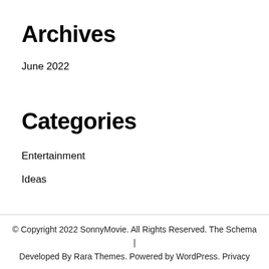Archives
June 2022
Categories
Entertainment
Ideas
© Copyright 2022 SonnyMovie. All Rights Reserved. The Schema | Developed By Rara Themes. Powered by WordPress. Privacy